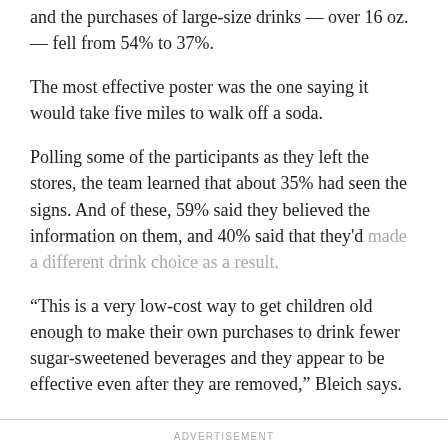and the purchases of large-size drinks — over 16 oz. — fell from 54% to 37%.
The most effective poster was the one saying it would take five miles to walk off a soda.
Polling some of the participants as they left the stores, the team learned that about 35% had seen the signs. And of these, 59% said they believed the information on them, and 40% said that they'd made a different drink choice as a result.
“This is a very low-cost way to get children old enough to make their own purchases to drink fewer sugar-sweetened beverages and they appear to be effective even after they are removed,” Bleich says.
ADVERTISEMENT